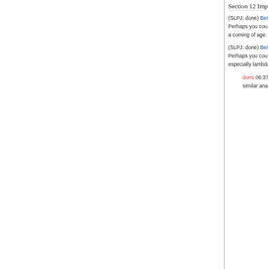Section 12 Impact
(SLPJ: done) BerniePope 08:38, 17 July 2006 (UTC) Comment. page 37. Section 12.4 Companies using Haskell. Perhaps you could mention the Commerical users of FP workshop? Not limited to Haskell, but an important sign of a coming of age.
(SLPJ: done) BerniePope 13:29, 17 July 2006 (UTC) Comment page 39. Section 12.5 The Haskell community. Perhaps you could also mention the Haskell IRC channel [2], and some of its interesting software clients, especially lambdabot.
dons 06:37, 19 July 2006 (UTC) Out of interest, after seeing the mailing list graphs, I've prepared some similar analysis of the #haskell irc channel. It too shows similar growth patterns since 2001, when it was